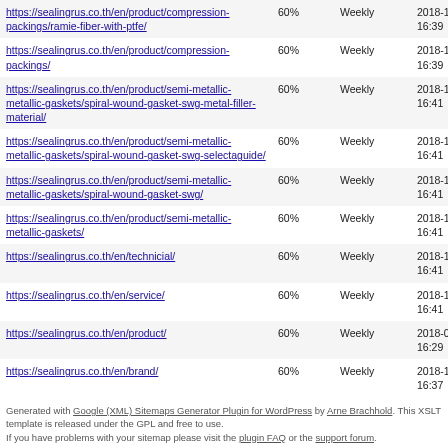| https://sealingrus.co.th/en/product/compression-packings/ramie-fiber-with-ptfe/ | 60% | Weekly | 2018-11-23 16:39 |
| https://sealingrus.co.th/en/product/compression-packings/ | 60% | Weekly | 2018-11-23 16:39 |
| https://sealingrus.co.th/en/product/semi-metallic-metallic-gaskets/spiral-wound-gasket-swg-metal-filler-material/ | 60% | Weekly | 2018-11-23 16:41 |
| https://sealingrus.co.th/en/product/semi-metallic-metallic-gaskets/spiral-wound-gasket-swg-selectaguide/ | 60% | Weekly | 2018-11-23 16:41 |
| https://sealingrus.co.th/en/product/semi-metallic-metallic-gaskets/spiral-wound-gasket-swg/ | 60% | Weekly | 2018-11-23 16:41 |
| https://sealingrus.co.th/en/product/semi-metallic-metallic-gaskets/ | 60% | Weekly | 2018-11-23 16:41 |
| https://sealingrus.co.th/en/technicial/ | 60% | Weekly | 2018-11-23 16:41 |
| https://sealingrus.co.th/en/service/ | 60% | Weekly | 2018-11-23 16:41 |
| https://sealingrus.co.th/en/product/ | 60% | Weekly | 2018-08-01 16:29 |
| https://sealingrus.co.th/en/brand/ | 60% | Weekly | 2018-11-23 16:37 |
Generated with Google (XML) Sitemaps Generator Plugin for WordPress by Arne Brachhold. This XSLT template is released under the GPL and free to use. If you have problems with your sitemap please visit the plugin FAQ or the support forum.